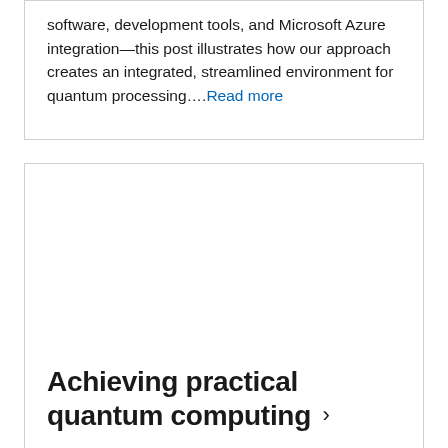software, development tools, and Microsoft Azure integration—this post illustrates how our approach creates an integrated, streamlined environment for quantum processing....Read more
[Figure (photo): White rectangular card area with blank image placeholder at top]
Achieving practical quantum computing ›